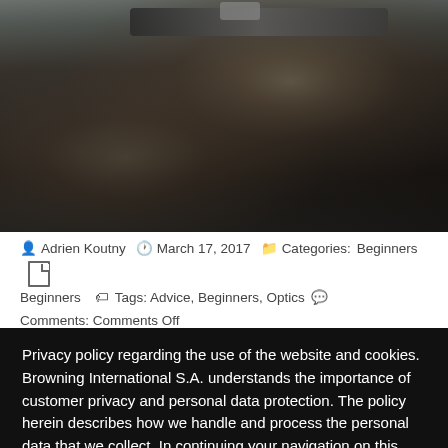[Figure (photo): Close-up photograph of hands gripping a rifle/firearm, showing the bolt action mechanism and stock detail]
Adrien Koutny  March 17, 2017  Categories: Beginners  Tags: Advice, Beginners, Optics  Comments: Comments Off
Privacy policy regarding the use of the website and cookies. Browning International S.A. understands the importance of customer privacy and personal data protection. The policy herein describes how we handle and process the personal data that we collect. In continuing your navigation on this site, you accept the use of cookies for statistical and personalization purposes.  Find out more
Cookie settings   ACCEPT